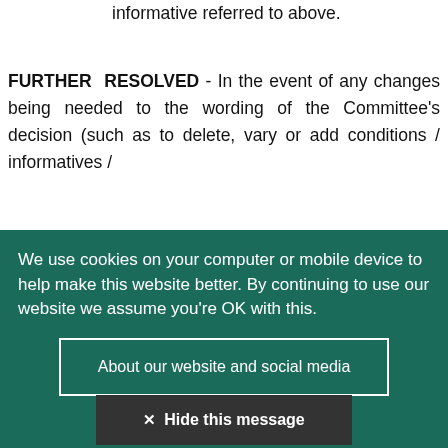informative referred to above.
FURTHER RESOLVED - In the event of any changes being needed to the wording of the Committee's decision (such as to delete, vary or add conditions / informatives /
We use cookies on your computer or mobile device to help make this website better. By continuing to use our website we assume you're OK with this.
About our website and social media
✕ Hide this message